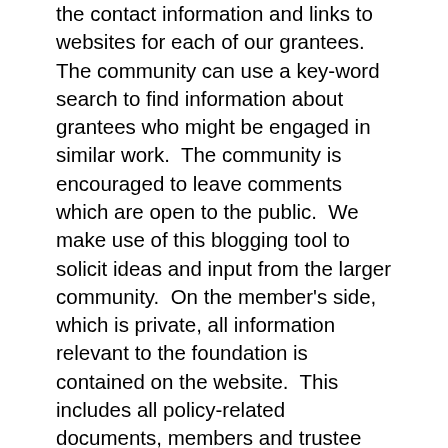the contact information and links to websites for each of our grantees.   The community can use a key-word search to find information about grantees who might be engaged in similar work.  The community is encouraged to leave comments which are open to the public.  We make use of this blogging tool to solicit ideas and input from the larger community.  On the member's side, which is private, all information relevant to the foundation is contained on the website.  This includes all policy-related documents, members and trustee contact information.  Each trustee and member has an assigned blog and can write about issues of interest to them that might related to the work of the foundation.  Other members can leave comments on those blogs thereby creating a “conversation” about topics. Most interesting for us, is our board book is online.  All grant requests for the docket are placed online.  Trustees can read, and comment on each requests prior to the meeting.  Other members are able to see those comments ahead of time.  The board book includes an on-line voting tool that allows the trustee to